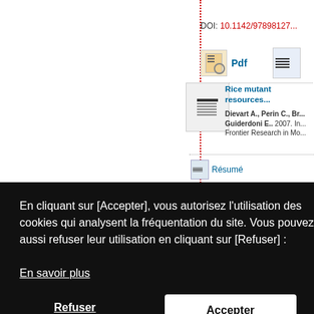DOI: 10.1142/97898127...
[Figure (screenshot): PDF icon with magnifying glass and document icon]
[Figure (screenshot): Thumbnail of document page]
Rice mutant resources...
Dievart A., Perin C., Br... Guiderdoni E.. 2007. In... Frontier Research in Mo...
Résumé
B: A databa...
iz M., Larm... ic Acids Res...
3/nar/gkj012...
Site du... Annua...
En cliquant sur [Accepter], vous autorisez l'utilisation des cookies qui analysent la fréquentation du site. Vous pouvez aussi refuser leur utilisation en cliquant sur [Refuser] :
En savoir plus
Refuser
Accepter
POUR LE DEVELOPPEMENT